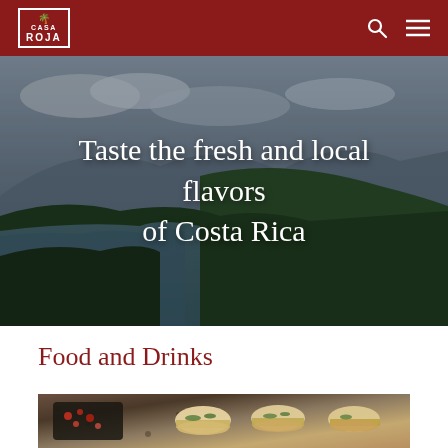Casa Roja navigation bar with logo, search icon, and menu icon
[Figure (photo): Aerial photo of Costa Rica coastline with mountains, jungle, and water under an overcast sky]
Taste the fresh and local flavors of Costa Rica
Food and Drinks
[Figure (photo): Close-up photo of food items including small sandwiches/sliders and a dark dish with chopped ingredients on a granite surface]